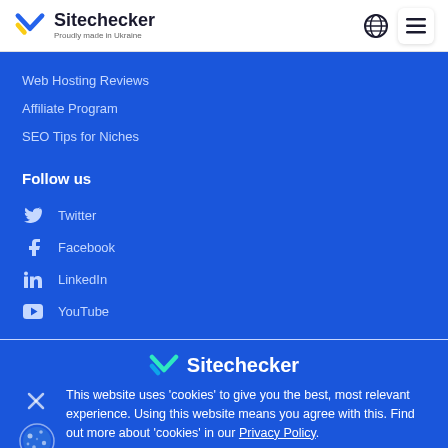Sitechecker — Proudly made in Ukraine
Web Hosting Reviews
Affiliate Program
SEO Tips for Niches
Follow us
Twitter
Facebook
LinkedIn
YouTube
[Figure (logo): Sitechecker logo with checkmark icon]
This website uses 'cookies' to give you the best, most relevant experience. Using this website means you agree with this. Find out more about 'cookies' in our Privacy Policy.